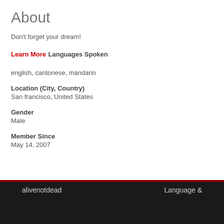About
Don't forget your dream!
Learn More
Languages Spoken
english, cantonese, mandarin
Location (City, Country)
San francisco, United States
Gender
Male
Member Since
May 14, 2007
alivenotdead   Language &